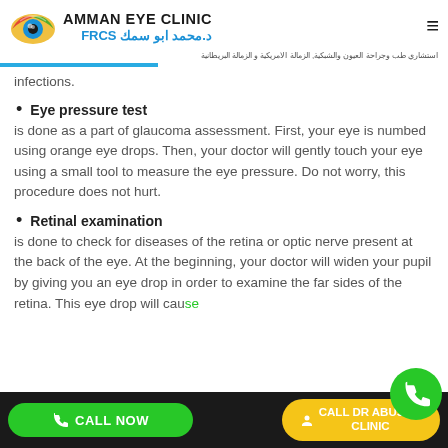AMMAN EYE CLINIC | د.محمد ابو سمك FRCS
infections.
Eye pressure test
is done as a part of glaucoma assessment. First, your eye is numbed using orange eye drops. Then, your doctor will gently touch your eye using a small tool to measure the eye pressure. Do not worry, this procedure does not hurt.
Retinal examination
is done to check for diseases of the retina or optic nerve present at the back of the eye. At the beginning, your doctor will widen your pupil by giving you an eye drop in order to examine the far sides of the retina. This eye drop will cause
CALL NOW | CALL DR ABUSAM CLINIC